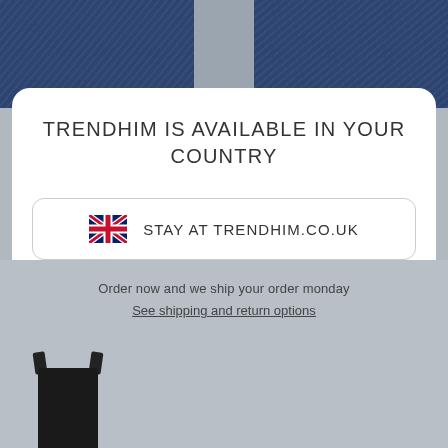[Figure (photo): Navy blue cable-knit gloves on gray background at top of page]
TRENDHIM IS AVAILABLE IN YOUR COUNTRY
STAY AT TRENDHIM.CO.UK
GO TO TRENDHIM.US
Order now and we ship your order monday
See shipping and return options
[Figure (photo): Small black product thumbnail at bottom left]